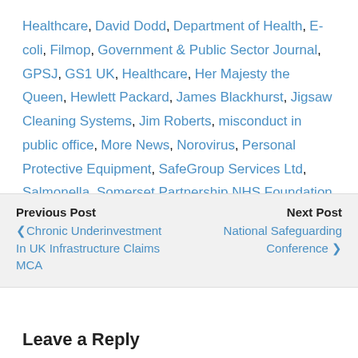Healthcare, David Dodd, Department of Health, E-coli, Filmop, Government & Public Sector Journal, GPSJ, GS1 UK, Healthcare, Her Majesty the Queen, Hewlett Packard, James Blackhurst, Jigsaw Cleaning Systems, Jim Roberts, misconduct in public office, More News, Norovirus, Personal Protective Equipment, SafeGroup Services Ltd, Salmonella, Somerset Partnership NHS Foundation Trust, Steve Broughton, The A-B Plus Anti-Bacterial System, Transformation
Previous Post: Chronic Underinvestment In UK Infrastructure Claims MCA | Next Post: National Safeguarding Conference